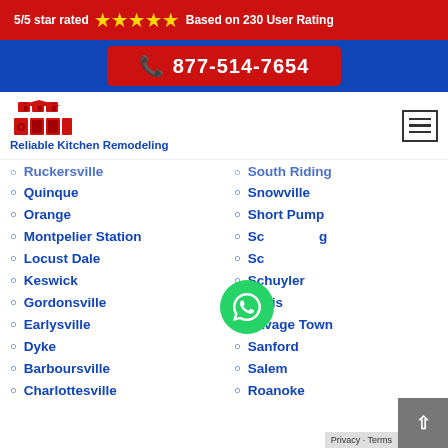5/5 star rated ★★★★★ Based on 230 User Rating
877-514-7654
[Figure (logo): Reliable Kitchen Remodeling logo with red kitchen icon and blue text]
Ruckersville
Quinque
Orange
Montpelier Station
Locust Dale
Keswick
Gordonsville
Earlysville
Dyke
Barboursville
Charlottesville
South Riding
Snowville
Short Pump
Scottsburg
Scotland
Schuyler
Saxis
Savage Town
Sanford
Salem
Roanoke